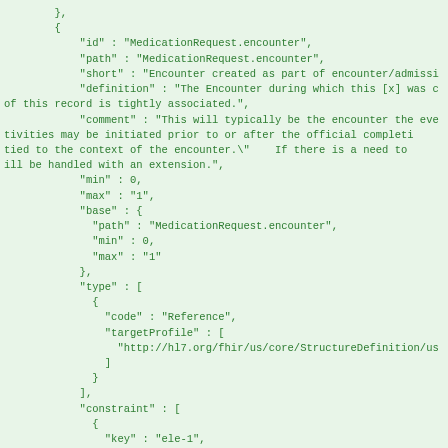JSON/FHIR code snippet showing MedicationRequest.encounter element definition with id, path, short, definition, comment, min, max, base, type, and constraint fields